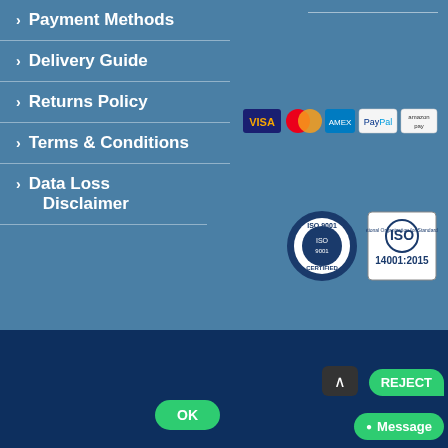> Payment Methods
> Delivery Guide
> Returns Policy
> Terms & Conditions
> Data Loss Disclaimer
[Figure (logo): Payment method logos: Visa, Mastercard, American Express, PayPal, Amazon Pay]
[Figure (logo): ISO 9001 Certified badge and ISO 14001:2015 certification logo]
© Tekeurope UK Ltd 2022 | All Rights Reserved | Company
This website uses cookies and third-party services. Settings
OK
REJECT
Message